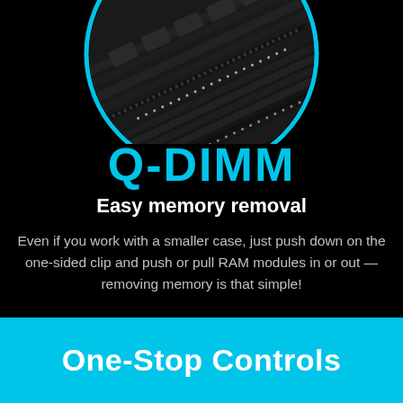[Figure (photo): Close-up photo of RAM memory modules in a motherboard slot, shown inside a circular cyan-bordered frame on a black background, partially cropped at top]
Q-DIMM
Easy memory removal
Even if you work with a smaller case, just push down on the one-sided clip and push or pull RAM modules in or out — removing memory is that simple!
One-Stop Controls